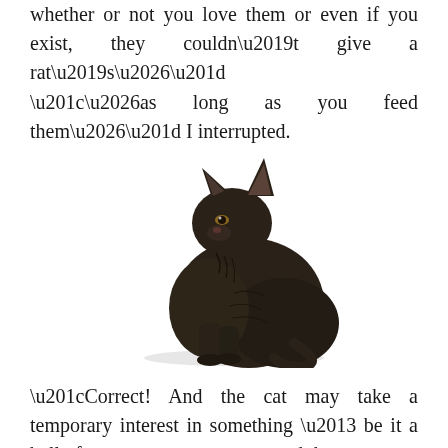whether or not you love them or even if you exist, they couldn’t give a rat’s…”
“…as long as you feed them…” I interrupted.
[Figure (photo): A dark brown/black Cornish Rex or similar hairless-type cat sitting upright in profile against a white background, looking upward to the left. The cat has large ears, wrinkled skin, and a slender muscular body with a tail curled around its base.]
“Correct! And the cat may take a temporary interest in something – be it a ball of yarn, a mouse, or a toy and then